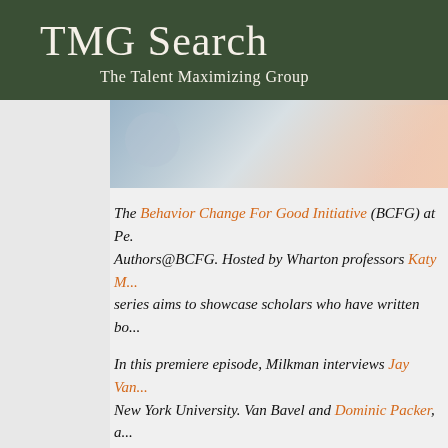TMG Search
The Talent Maximizing Group
[Figure (photo): Blurred photo of a person, partially visible on the right side of the page]
The Behavior Change For Good Initiative (BCFG) at Pe... Authors@BCFG. Hosted by Wharton professors Katy M... series aims to showcase scholars who have written bo...
In this premiere episode, Milkman interviews Jay Van... New York University. Van Bavel and Dominic Packer, a... book titled, The Power of Us: Harnessing Our Shar... and Promote Social Harmony. It examines how grou... social change.
During the interview, Van Bavel talks about why he a...